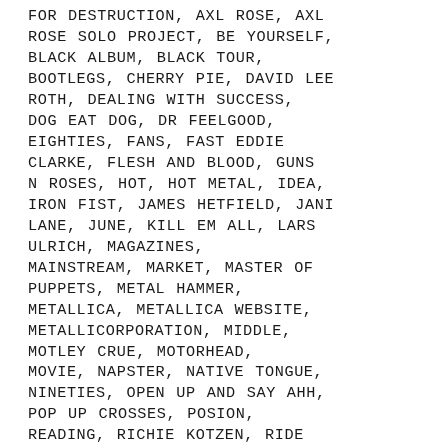FOR DESTRUCTION, AXL ROSE, AXL ROSE SOLO PROJECT, BE YOURSELF, BLACK ALBUM, BLACK TOUR, BOOTLEGS, CHERRY PIE, DAVID LEE ROTH, DEALING WITH SUCCESS, DOG EAT DOG, DR FEELGOOD, EIGHTIES, FANS, FAST EDDIE CLARKE, FLESH AND BLOOD, GUNS N ROSES, HOT, HOT METAL, IDEA, IRON FIST, JAMES HETFIELD, JANI LANE, JUNE, KILL EM ALL, LARS ULRICH, MAGAZINES, MAINSTREAM, MARKET, MASTER OF PUPPETS, METAL HAMMER, METALLICA, METALLICA WEBSITE, METALLICORPORATION, MIDDLE, MOTLEY CRUE, MOTORHEAD, MOVIE, NAPSTER, NATIVE TONGUE, NINETIES, OPEN UP AND SAY AHH, POP UP CROSSES, POSION, READING, RICHIE KOTZEN, RIDE THE LIGHTNING, ROBYN DOREIAN, RUSE, SAMMY HAGER, SKID ROW, SLAVE TO THE GRIND, SOLO PROJECT, STAGE DESIGN, STAY HUNGRY, STAYING POWER,